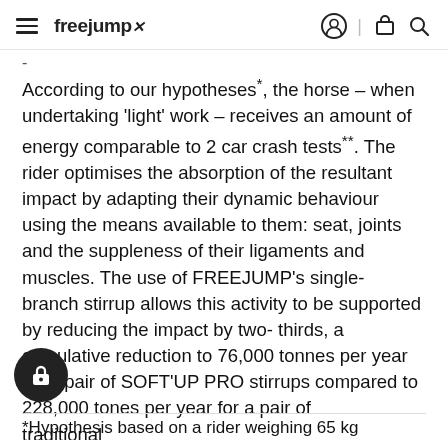freejump
According to our hypotheses*, the horse – when undertaking 'light' work – receives an amount of energy comparable to 2 car crash tests**. The rider optimises the absorption of the resultant impact by adapting their dynamic behaviour using the means available to them: seat, joints and the suppleness of their ligaments and muscles. The use of FREEJUMP's single- branch stirrup allows this activity to be supported by reducing the impact by two- thirds, a cumulative reduction to 76,000 tonnes per year for a pair of SOFT'UP PRO stirrups compared to 228,000 tonnes per year for a pair of traditional stirrups.
*Hypothesis based on a rider weighing 65 kg